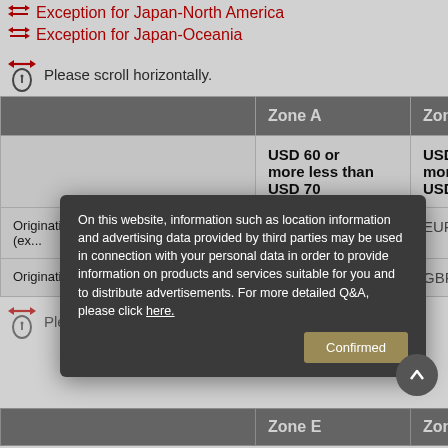Exception for Japan-North America
Exception for Japan-Oceania
Please scroll horizontally.
|  | Zone A | Zone (partial) |
| --- | --- | --- |
|  | USD 60 or more less than USD 70 | USD (partial) |
| Originating in Europe (excl...) | EUR 47 | EUR (partial) |
| Originating in UK | GBP 4... | GBP (partial) |
Please scroll horizontally.
On this website, information such as location information and advertising data provided by third parties may be used in connection with your personal data in order to provide information on products and services suitable for you and to distribute advertisements. For more detailed Q&A, please click here.
|  | Zone E | Zone (partial) |
| --- | --- | --- |